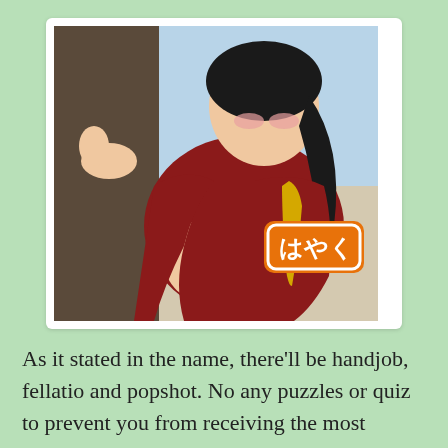[Figure (illustration): Anime illustration of a dark-haired female character in a red outfit with a Japanese text badge reading はやく (hayaku)]
As it stated in the name, there'll be handjob, fellatio and popshot. No any puzzles or quiz to prevent you from receiving the most interesting